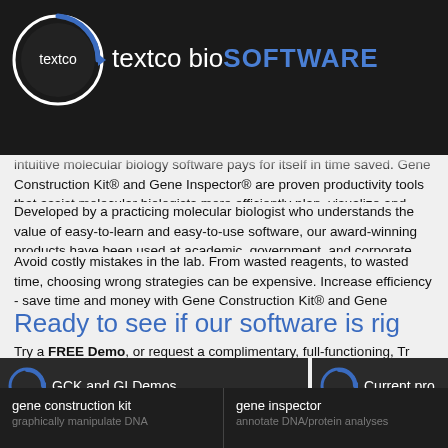textco bioSOFTWARE
intuitive molecular biology software pays for itself in time saved. Gene Construction Kit® and Gene Inspector® are proven productivity tools that assist molecular biologists more efficiently plan, visualize and manage experiments.
Developed by a practicing molecular biologist who understands the value of easy-to-learn and easy-to-use software, our award-winning products have been used at academic, government, and corporate institutions around the world.
Avoid costly mistakes in the lab. From wasted reagents, to wasted time, choosing wrong strategies can be expensive. Increase efficiency - save time and money with Gene Construction Kit® and Gene Inspector®.
Ready to see if our software is rig
Try a FREE Demo, or request a complimentary, full-functioning, Tr
GCK and GI Demos
Current pro
gene construction kit
graphically manipulate DNA
gene inspector
annotate DNA/protein analyses